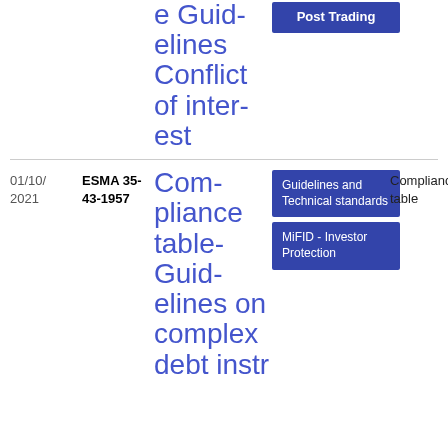e Guidelines Conflict of interest
[Figure (other): Post Trading tag button]
01/10/2021
ESMA 35-43-1957
Compliance table-Guidelines on complex debt instr
[Figure (other): Guidelines and Technical standards tag]
Compliance table
[Figure (other): MiFID - Investor Protection tag]
[Figure (other): PDF icon]
PDF
16
3.99 KB